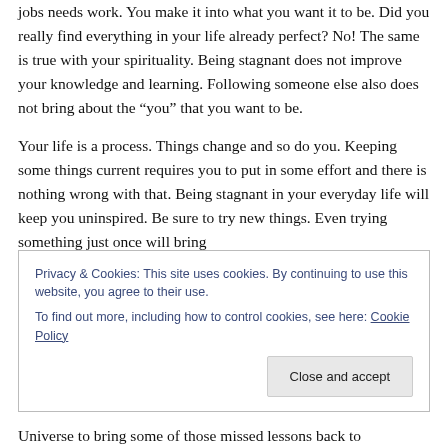jobs needs work. You make it into what you want it to be. Did you really find everything in your life already perfect? No! The same is true with your spirituality. Being stagnant does not improve your knowledge and learning. Following someone else also does not bring about the "you" that you want to be.
Your life is a process. Things change and so do you. Keeping some things current requires you to put in some effort and there is nothing wrong with that. Being stagnant in your everyday life will keep you uninspired. Be sure to try new things. Even trying something just once will bring
Privacy & Cookies: This site uses cookies. By continuing to use this website, you agree to their use.
To find out more, including how to control cookies, see here: Cookie Policy
Universe to bring some of those missed lessons back to